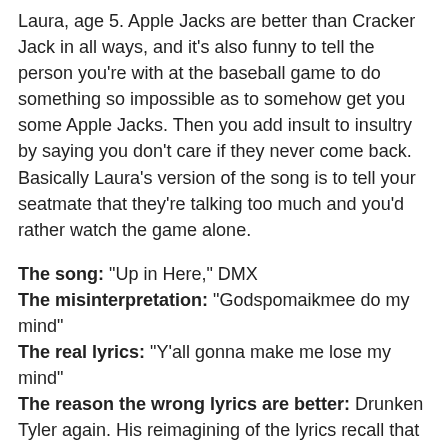Laura, age 5. Apple Jacks are better than Cracker Jack in all ways, and it's also funny to tell the person you're with at the baseball game to do something so impossible as to somehow get you some Apple Jacks. Then you add insult to insultry by saying you don't care if they never come back. Basically Laura's version of the song is to tell your seatmate that they're talking too much and you'd rather watch the game alone.
The song: "Up in Here," DMX
The misinterpretation: "Godspomaikmee do my mind"
The real lyrics: "Y'all gonna make me lose my mind"
The reason the wrong lyrics are better: Drunken Tyler again. His reimagining of the lyrics recall that of an Estonian immigrant who has never heard the English language, yet is still inspired by the joyie de vivre of the music. Tyler thought so much of his version of his version of the song that he once made his own Talk City site titled Godspomaikmee Do My Mind. It was really funny, too. And then Talk City deleted everyone's site without telling anyone and it was lost forever, then from that point on, devastated Tyler vowed never again to make another website and has held true to the promise.